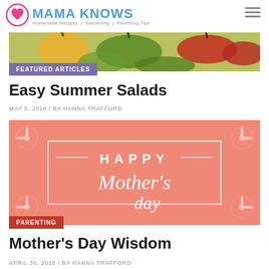MAMA KNOWS — Homemade Recipes | Gardening | Parenting Tips
[Figure (photo): Colorful vegetables including yellow, green, and red peppers]
FEATURED ARTICLES
Easy Summer Salads
MAY 5, 2018 / BY HANNA TRAFFORD
[Figure (illustration): Happy Mother's Day pink greeting card illustration with decorative frame and script lettering]
PARENTING
Mother's Day Wisdom
APRIL 30, 2018 / BY HANNA TRAFFORD